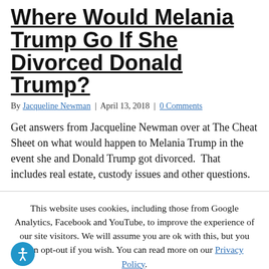Where Would Melania Trump Go If She Divorced Donald Trump?
By Jacqueline Newman | April 13, 2018 | 0 Comments
Get answers from Jacqueline Newman over at The Cheat Sheet on what would happen to Melania Trump in the event she and Donald Trump got divorced.  That includes real estate, custody issues and other questions.
This website uses cookies, including those from Google Analytics, Facebook and YouTube, to improve the experience of our site visitors. We will assume you are ok with this, but you can opt-out if you wish. You can read more on our Privacy Policy.